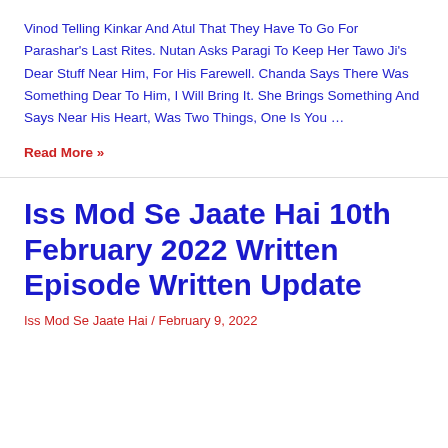Vinod Telling Kinkar And Atul That They Have To Go For Parashar's Last Rites. Nutan Asks Paragi To Keep Her Tawo Ji's Dear Stuff Near Him, For His Farewell. Chanda Says There Was Something Dear To Him, I Will Bring It. She Brings Something And Says Near His Heart, Was Two Things, One Is You …
Read More »
Iss Mod Se Jaate Hai 10th February 2022 Written Episode Written Update
Iss Mod Se Jaate Hai / February 9, 2022